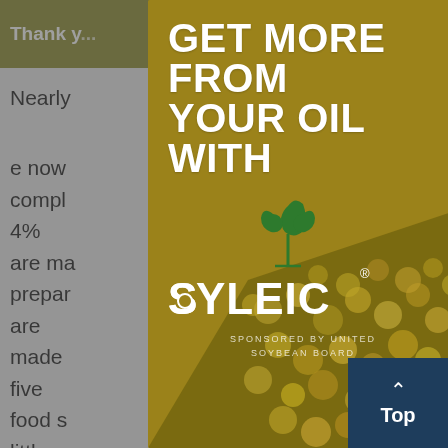Thank you ... tools you
Nearly ... e now compl... 4% are ma... prepar... are made ... five food s... little or no...
[Figure (advertisement): Modal advertisement popup with gold background. Text reads: GET MORE FROM YOUR OIL WITH. Below is the Soyleic logo (green plant/leaf icon above the word SOYLEIC with a small registered mark). Sponsored by United Soybean Board text at bottom. Right portion shows a close-up photo of soybeans. An X close button appears top right.]
Super... growi... and pr... billion... 015,